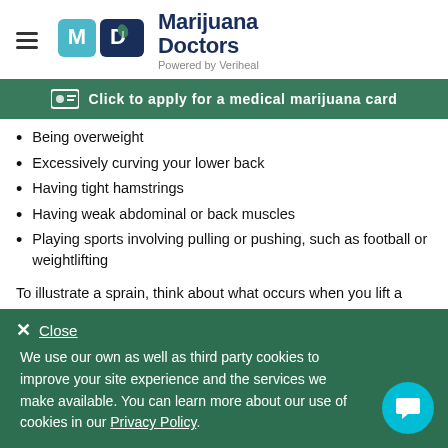Marijuana Doctors — Powered by Veriheal
Click to apply for a medical marijuana card
Being overweight
Excessively curving your lower back
Having tight hamstrings
Having weak abdominal or back muscles
Playing sports involving pulling or pushing, such as football or weightlifting
To illustrate a sprain, think about what occurs when you lift a heavy object. At first, your body recruits your muscles to manage the load.
Close
We use our own as well as third party cookies to improve your site experience and the services we make available. You can learn more about our use of cookies in our Privacy Policy.